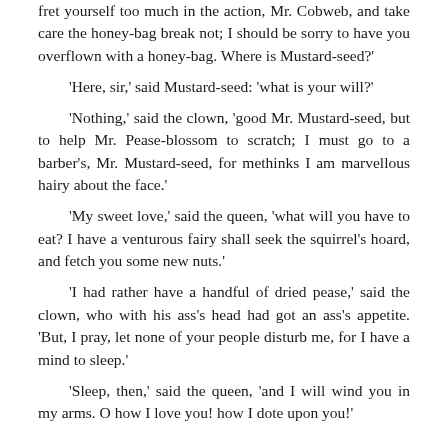fret yourself too much in the action, Mr. Cobweb, and take care the honey-bag break not; I should be sorry to have you overflown with a honey-bag. Where is Mustard-seed?'
'Here, sir,' said Mustard-seed: 'what is your will?'
'Nothing,' said the clown, 'good Mr. Mustard-seed, but to help Mr. Pease-blossom to scratch; I must go to a barber's, Mr. Mustard-seed, for methinks I am marvellous hairy about the face.'
'My sweet love,' said the queen, 'what will you have to eat? I have a venturous fairy shall seek the squirrel's hoard, and fetch you some new nuts.'
'I had rather have a handful of dried pease,' said the clown, who with his ass's head had got an ass's appetite. 'But, I pray, let none of your people disturb me, for I have a mind to sleep.'
'Sleep, then,' said the queen, 'and I will wind you in my arms. O how I love you! how I dote upon you!'